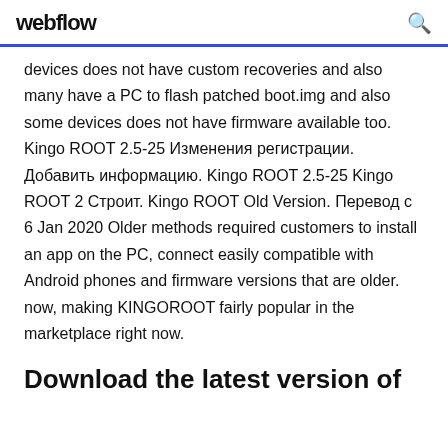webflow
devices does not have custom recoveries and also many have a PC to flash patched boot.img and also some devices does not have firmware available too. Kingo ROOT 2.5-25 Изменения регистрации. Добавить информацию. Kingo ROOT 2.5-25 Kingo ROOT 2 Строит. Kingo ROOT Old Version. Перевод с  6 Jan 2020 Older methods required customers to install an app on the PC, connect easily compatible with Android phones and firmware versions that are older. now, making KINGOROOT fairly popular in the marketplace right now.
Download the latest version of